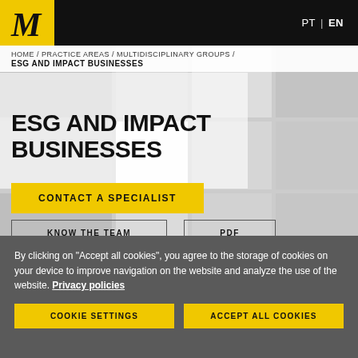M | PT  EN
HOME / PRACTICE AREAS / MULTIDISCIPLINARY GROUPS / ESG AND IMPACT BUSINESSES
ESG AND IMPACT BUSINESSES
CONTACT A SPECIALIST
KNOW THE TEAM
PDF
By clicking on "Accept all cookies", you agree to the storage of cookies on your device to improve navigation on the website and analyze the use of the website. Privacy policies
COOKIE SETTINGS
ACCEPT ALL COOKIES